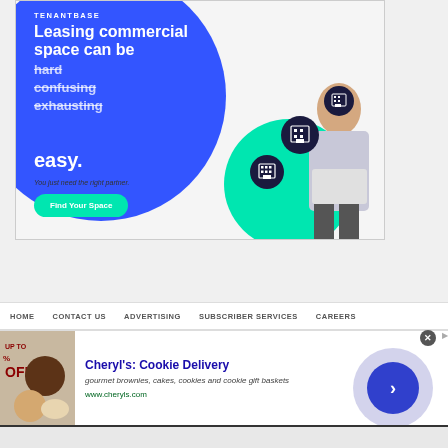[Figure (illustration): TenantBase advertisement banner. Blue circle background with white bold text reading 'Leasing commercial space can be' followed by strikethrough words 'hard', 'confusing', 'exhausting' and then 'easy.' with tagline 'You just need the right partner.' and a green 'Find Your Space' button. Building icons and a man with laptop on right side.]
HOME   CONTACT US   ADVERTISING   SUBSCRIBER SERVICES   CAREERS
[Figure (screenshot): Display advertisement for Cheryl's: Cookie Delivery. Shows cookie/brownie image on left, title 'Cheryl's: Cookie Delivery', description 'gourmet brownies, cakes, cookies and cookie gift baskets', URL 'www.cheryls.com', with a circular arrow button on right and close X button.]